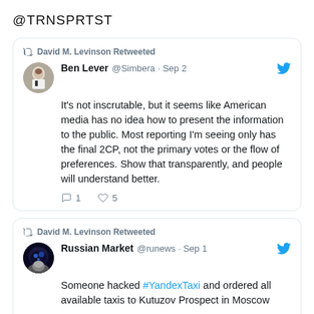@TRNSPRTST
David M. Levinson Retweeted
Ben Lever @Simbera · Sep 2 — It's not inscrutable, but it seems like American media has no idea how to present the information to the public. Most reporting I'm seeing only has the final 2CP, not the primary votes or the flow of preferences. Show that transparently, and people will understand better. 1 reply, 5 likes
David M. Levinson Retweeted
Russian Market @runews · Sep 1 — Someone hacked #YandexTaxi and ordered all available taxis to Kutuzov Prospect in Moscow